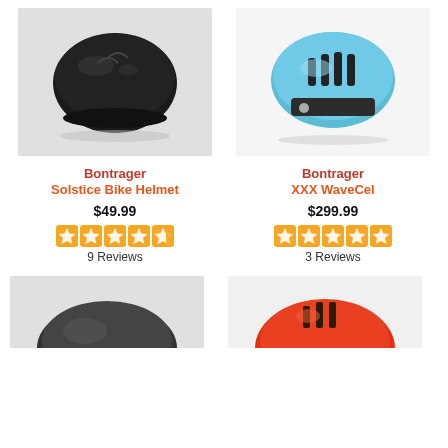[Figure (photo): Black Bontrager Solstice Bike Helmet on white/gray background]
[Figure (photo): Light blue Bontrager XXX WaveCel helmet on white background]
Bontrager
Solstice Bike Helmet
$49.99
★★★★½ 9 Reviews
Bontrager
XXX WaveCel
$299.99
★★★★★ 3 Reviews
[Figure (photo): Partial view of a dark gray helmet from below]
[Figure (photo): Partial view of a red/orange helmet]